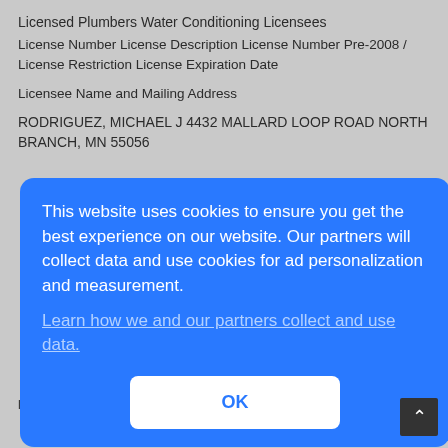Licensed Plumbers Water Conditioning Licensees
License Number License Description License Number Pre-2008 / License Restriction License Expiration Date
Licensee Name and Mailing Address
RODRIGUEZ, MICHAEL J 4432 MALLARD LOOP ROAD NORTH BRANCH, MN 55056
[Figure (screenshot): Cookie consent modal overlay with blue background. Text: 'This website uses cookies to ensure you get the best experience on our website. Our partners will collect data and use cookies for ad personalization and measurement.' Link: 'Learn how we and our partners collect and use data.' Button: 'OK']
303
ROEHL, GARY M 3124 CANNON ST HASTINGS, MN 55033